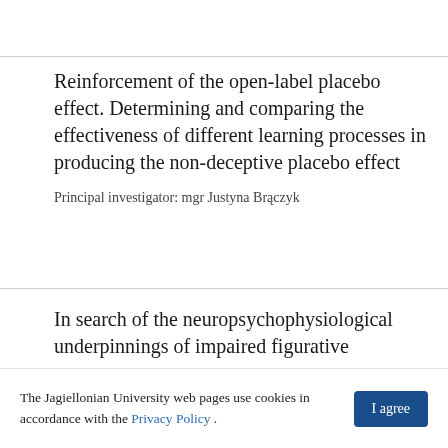Reinforcement of the open-label placebo effect. Determining and comparing the effectiveness of different learning processes in producing the non-deceptive placebo effect
Principal investigator: mgr Justyna Brączyk
In search of the neuropsychophysiological underpinnings of impaired figurative
The Jagiellonian University web pages use cookies in accordance with the Privacy Policy .